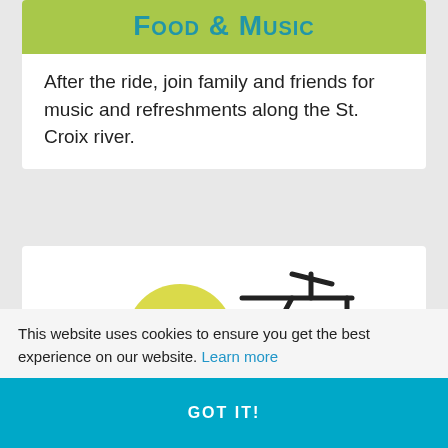[Figure (illustration): Green rounded rectangle banner with 'Food & Music' text in teal/blue small-caps bold font]
After the ride, join family and friends for music and refreshments along the St. Croix river.
[Figure (illustration): Partial bicycle illustration with yellow circle and black line art handlebar/frame visible]
This website uses cookies to ensure you get the best experience on our website. Learn more
GOT IT!